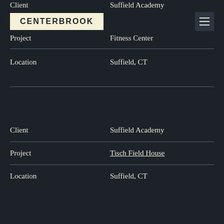Client    Suffield Academy
[Figure (logo): Centerbrook logo in cream/yellow box with hamburger menu icon]
Project    Fitness Center
Location    Suffield, CT
Client    Suffield Academy
Project    Tisch Field House
Location    Suffield, CT